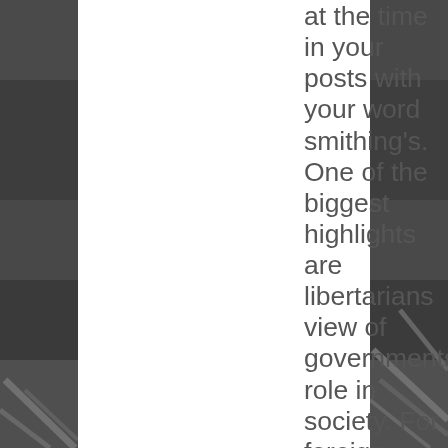[Figure (photo): Black and white aerial photograph of a city/bridge scene, split into left and right side panels flanking a white center column]
at the time in your posts with your word smithing's. One of the biggest highlights are libertarians view of governments role in society. For foreign policy. For the interpretation of interstate commerce. Libers like you are either too far